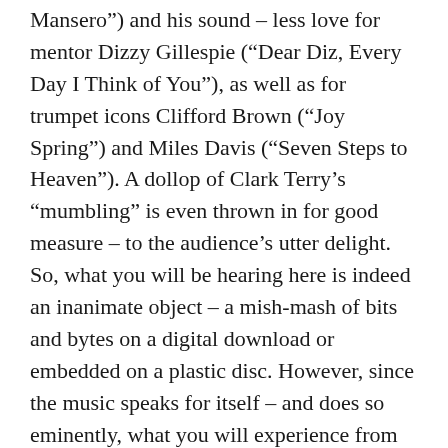Mansero”) and his sound – less love for mentor Dizzy Gillespie (“Dear Diz, Every Day I Think of You”), as well as for trumpet icons Clifford Brown (“Joy Spring”) and Miles Davis (“Seven Steps to Heaven”). A dollop of Clark Terry’s “mumbling” is even thrown in for good measure – to the audience’s utter delight. So, what you will be hearing here is indeed an inanimate object – a mish-mash of bits and bytes on a digital download or embedded on a plastic disc. However, since the music speaks for itself – and does so eminently, what you will experience from “Maestro,” as I like to call him (and he eats it up and deserves it!) and his marvelous musicians is, as Khalil Gibran wrote, love made visible. Just as is the heart, soul and entire being of the boy – now man – who came